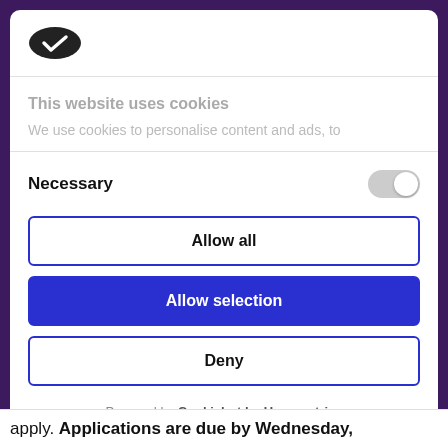[Figure (logo): Cookiebot logo - dark oval cookie shape with white checkmark]
This website uses cookies
We use cookies to personalise content and ads, to
Necessary
Allow all
Allow selection
Deny
Powered by Cookiebot by Usercentrics
apply. Applications are due by Wednesday,